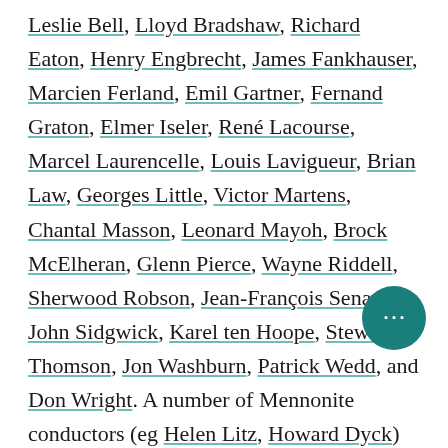Leslie Bell, Lloyd Bradshaw, Richard Eaton, Henry Engbrecht, James Fankhauser, Marcien Ferland, Emil Gartner, Fernand Graton, Elmer Iseler, René Lacourse, Marcel Laurencelle, Louis Lavigueur, Brian Law, Georges Little, Victor Martens, Chantal Masson, Leonard Mayoh, Brock McElheran, Glenn Pierce, Wayne Riddell, Sherwood Robson, Jean-François Senart, John Sidgwick, Karel ten Hoope, Stewart Thomson, Jon Washburn, Patrick Wedd, and Don Wright. A number of Mennonite conductors (eg Helen Litz, Howard Dyck) made significant contributions in the choral field (see Mennonites) as did conductors of Canadian ethnic choirs including Roman Toi, Eli Rubenstein and